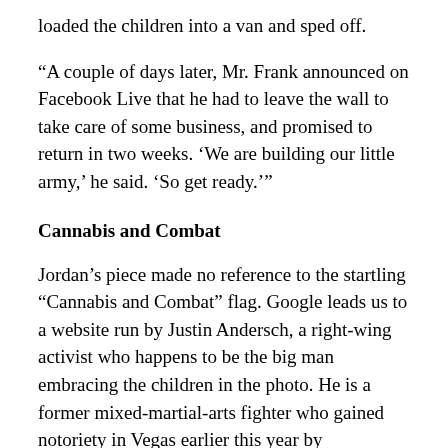loaded the children into a van and sped off.
“A couple of days later, Mr. Frank announced on Facebook Live that he had to leave the wall to take care of some business, and promised to return in two weeks. ‘We are building our little army,’ he said. ‘So get ready.’”
Cannabis and Combat
Jordan’s piece made no reference to the startling “Cannabis and Combat” flag. Google leads us to a website run by Justin Andersch, a right-wing activist who happens to be the big man embracing the children in the photo. He is a former mixed-martial-arts fighter who gained notoriety in Vegas earlier this year by threatening the governor and then holding a press conference to not apologize.  An admirer explains that Andersch “left Hollywood and the MMA world to run his company Sirius CBD and host his online conspiracy